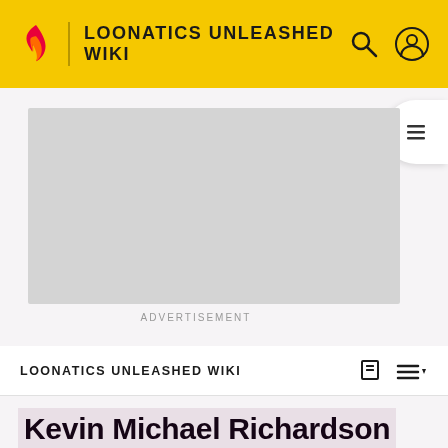LOONATICS UNLEASHED WIKI
[Figure (screenshot): Advertisement placeholder — grey rectangle with 'ADVERTISEMENT' label below]
LOONATICS UNLEASHED WIKI
Kevin Michael Richardson